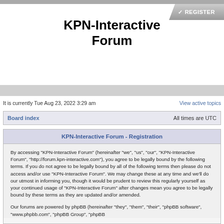KPN-Interactive Forum
[Figure (other): Register button with checkmark icon in top right corner]
KPN-Interactive Forum
It is currently Tue Aug 23, 2022 3:29 am
View active topics
Board index    All times are UTC
KPN-Interactive Forum - Registration
By accessing "KPN-Interactive Forum" (hereinafter "we", "us", "our", "KPN-Interactive Forum", "http://forum.kpn-interactive.com"), you agree to be legally bound by the following terms. If you do not agree to be legally bound by all of the following terms then please do not access and/or use "KPN-Interactive Forum". We may change these at any time and we'll do our utmost in informing you, though it would be prudent to review this regularly yourself as your continued usage of "KPN-Interactive Forum" after changes mean you agree to be legally bound by these terms as they are updated and/or amended.
Our forums are powered by phpBB (hereinafter "they", "them", "their", "phpBB software", "www.phpbb.com", "phpBB Group", "phpBB